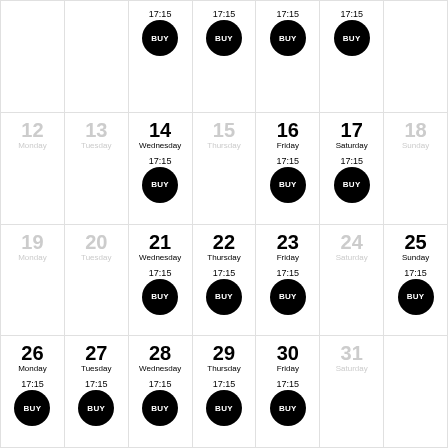| Mon | Tue | Wed | Thu | Fri | Sat | Sun |
| --- | --- | --- | --- | --- | --- | --- |
|  |  | 17:15 BUY | 17:15 BUY | 17:15 BUY | 17:15 BUY |  |
| 12 Monday | 13 Tuesday | 14 Wednesday 17:15 BUY | 15 Thursday | 16 Friday 17:15 BUY | 17 Saturday 17:15 BUY | 18 Sunday |
| 19 Monday | 20 Tuesday | 21 Wednesday 17:15 BUY | 22 Thursday 17:15 BUY | 23 Friday 17:15 BUY | 24 Saturday | 25 Sunday 17:15 BUY |
| 26 Monday 17:15 BUY | 27 Tuesday 17:15 BUY | 28 Wednesday 17:15 BUY | 29 Thursday 17:15 BUY | 30 Friday 17:15 BUY | 31 Saturday |  |